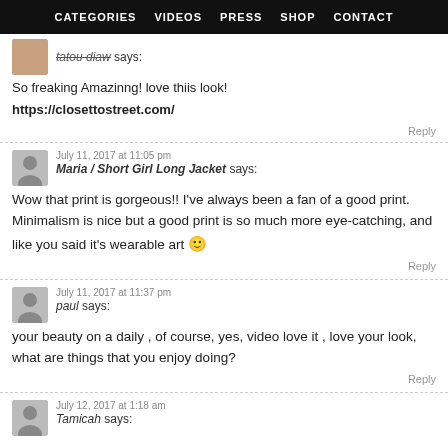CATEGORIES  VIDEOS  PRESS  SHOP  CONTACT
tatou diaw says:
So freaking Amazinng! love thiis look!
https://closettostreet.com/
July 11, 2017 at 11:05 pm
Maria / Short Girl Long Jacket says:
Wow that print is gorgeous!! I've always been a fan of a good print. Minimalism is nice but a good print is so much more eye-catching, and like you said it's wearable art 🙂
July 11, 2017 at 11:37 pm
paul says:
your beauty on a daily , of course, yes, video love it , love your look, what are things that you enjoy doing?
July 12, 2017 at 1:18 am
Tamicah says: